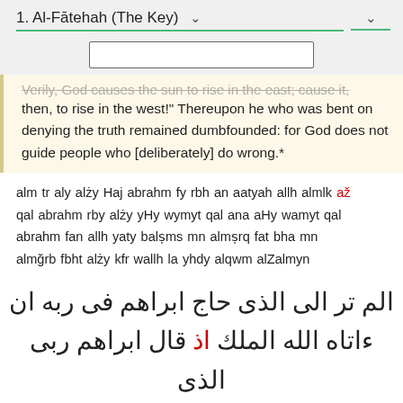1. Al-Fātehah (The Key)
then, to rise in the west!" Thereupon he who was bent on denying the truth remained dumbfounded: for God does not guide people who [deliberately] do wrong.*
alm tr aly alży Haj abrahm fy rbh an aatyah allh almlk až qal abrahm rby alży yHy wymyt qal ana aHy wamyt qal abrahm fan allh yaty balṣms mn almṣrq fat bha mn almğrb fbht alży kfr wallh la yhdy alqwm alZalmyn
الم تر الى الذى حاج ابراهم فى ربه ان ءاتاه الله الملك اذ قال ابراهم ربى الذى يحى ويميت قال انا احى واميت قال ابراهم